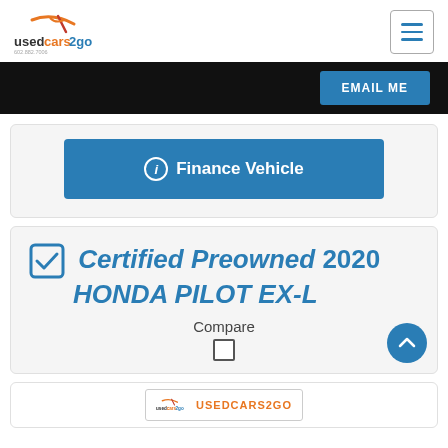usedcars2go logo and navigation
[Figure (screenshot): Black navigation bar with EMAIL ME button]
[Figure (screenshot): Finance Vehicle button (blue)]
Certified Preowned 2020 HONDA PILOT EX-L
Compare
[Figure (logo): usedcars2go logo at bottom of page]